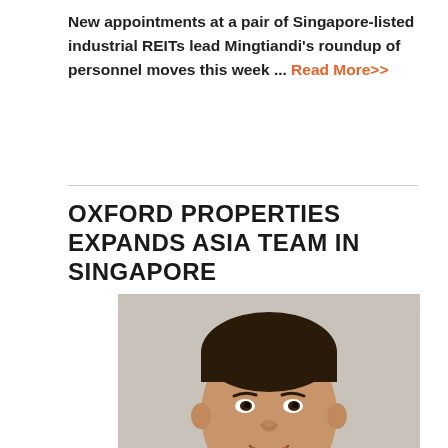New appointments at a pair of Singapore-listed industrial REITs lead Mingtiandi's roundup of personnel moves this week ... Read More>>
OXFORD PROPERTIES EXPANDS ASIA TEAM IN SINGAPORE
[Figure (photo): Headshot of a man with short dark hair, smiling, against a light grey background]
Canada's Oxford Properties is growing its capabilities in Asia Pacific with the real estate investment firm having